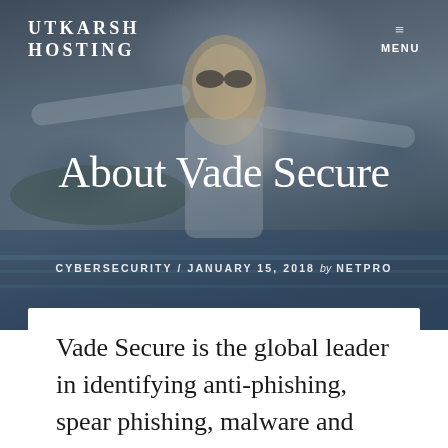UTKARSH HOSTING
[Figure (photo): Hero background image: a smiling woman with arms outstretched, standing near the ocean, wearing sunglasses, against a moody dark blue-grey sky and water backdrop.]
About Vade Secure
CYBERSECURITY / JANUARY 15, 2018 by NETPRO
Vade Secure is the global leader in identifying anti-phishing, spear phishing, malware and ransomware